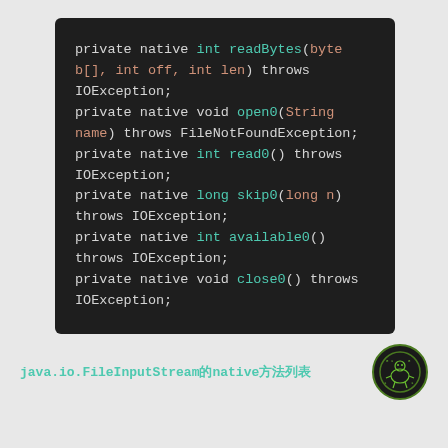[Figure (screenshot): Dark-themed code block showing Java native method declarations: readBytes, open0, read0, skip0, available0, close0]
java.io.FileInputStream的native方法列表
[Figure (logo): Green circuit/robot logo on dark circular background]